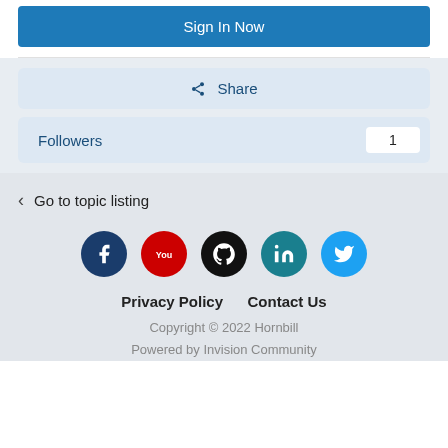Sign In Now
Share
Followers 1
< Go to topic listing
[Figure (illustration): Social media icons: Facebook (dark blue circle with white F), YouTube (red circle with white play button/tube logo), GitHub (black circle with white octocat), LinkedIn (teal circle with white in), Twitter (light blue circle with white bird)]
Privacy Policy   Contact Us
Copyright © 2022 Hornbill
Powered by Invision Community